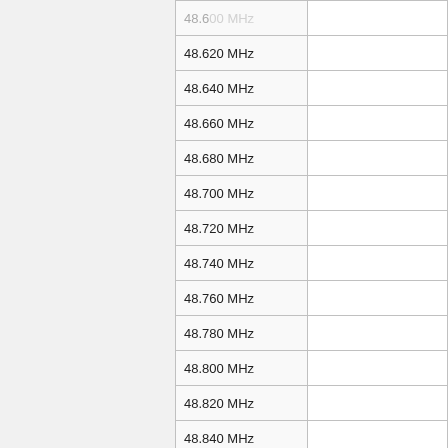| Frequency |  |
| --- | --- |
| 48.620 MHz |  |
| 48.640 MHz |  |
| 48.660 MHz |  |
| 48.680 MHz |  |
| 48.700 MHz |  |
| 48.720 MHz |  |
| 48.740 MHz |  |
| 48.760 MHz |  |
| 48.780 MHz |  |
| 48.800 MHz |  |
| 48.820 MHz |  |
| 48.840 MHz |  |
| 48.860 MHz |  |
| 48.880 MHz |  |
| 48.900 MHz |  |
| 48.920 MHz |  |
| 48.940 MHz |  |
| 48.960 MHz |  |